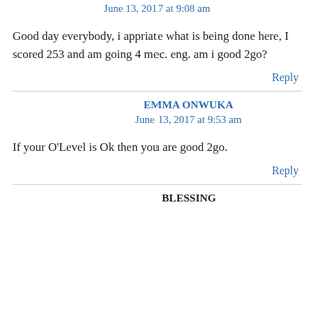June 13, 2017 at 9:08 am
Good day everybody, i appriate what is being done here, I scored 253 and am going 4 mec. eng. am i good 2go?
Reply
EMMA ONWUKA
June 13, 2017 at 9:53 am
If your O'Level is Ok then you are good 2go.
Reply
BLESSING